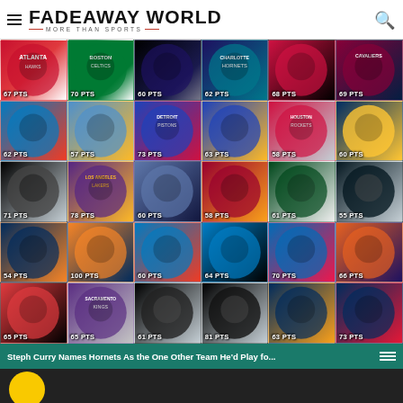FADEAWAY WORLD — MORE THAN SPORTS
[Figure (infographic): NBA team record single-game scoring leaders grid. 30 cells, one per team, each showing a player photo on team logo background with points scored. Row 1: Atlanta Hawks 67 PTS, Boston Celtics 70 PTS, Brooklyn Nets/New Orleans 60 PTS, Charlotte Hornets 62 PTS, Chicago Bulls 68 PTS, Cleveland Cavaliers 69 PTS. Row 2: 62 PTS, Denver Nuggets 57 PTS, Detroit Pistons 73 PTS, Golden State Warriors 63 PTS, Houston Rockets 58 PTS, Indiana Pacers 60 PTS. Row 3: 71 PTS, Los Angeles Lakers 78 PTS, Memphis Grizzlies 60 PTS, Miami Heat 58 PTS, Milwaukee Bucks 61 PTS, San Antonio Spurs 55 PTS. Row 4: 54 PTS, New York Knicks 100 PTS, Oklahoma City Thunder 60 PTS, Orlando Magic 64 PTS, Philadelphia 76ers 70 PTS, Phoenix Suns 66 PTS. Row 5: Portland Trail Blazers 65 PTS, Sacramento Kings 65 PTS, San Antonio Spurs 61 PTS, Toronto Raptors 81 PTS, Utah Jazz 63 PTS, Washington Wizards 73 PTS.]
Steph Curry Names Hornets As the One Other Team He'd Play fo...